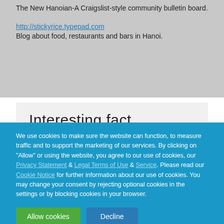The New Hanoian-A Craigslist-style community bulletin board.
http://stickyrice.typepad.com
Blog about food, restaurants and bars in Hanoi.
Interesting fact
We use cookies to make sure the website can function, to measure traffic and to support the marketing of our services. By clicking on "Allow" or using the website, you agree to our use of cookies, our Privacy Statement & Legal Terms of Use & Service. Please read our Cookie Notice for further information about our use of cookies. You may change your consent by rejecting optional cookies in the settings or by blocking cookies in your browser.
Allow cookies   Decline